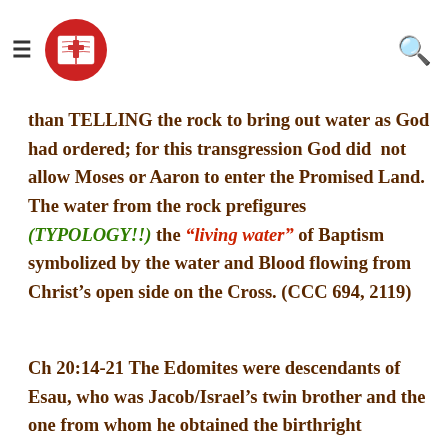≡ [logo] 🔍
than TELLING the rock to bring out water as God had ordered; for this transgression God did  not allow Moses or Aaron to enter the Promised Land. The water from the rock prefigures (TYPOLOGY!!) the "living water" of Baptism symbolized by the water and Blood flowing from Christ's open side on the Cross. (CCC 694, 2119)
Ch 20:14-21 The Edomites were descendants of Esau, who was Jacob/Israel's twin brother and the one from whom he obtained the birthright